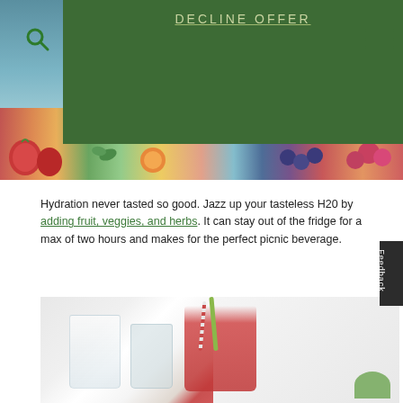[Figure (photo): Hero image showing fruit-infused waters with strawberries, herbs, citrus and berries on a blue wooden table, with a dark green overlay panel containing the text DECLINE OFFER]
Hydration never tasted so good. Jazz up your tasteless H20 by adding fruit, veggies, and herbs. It can stay out of the fridge for a max of two hours and makes for the perfect picnic beverage.
[Figure (photo): Close-up photo of mason jars filled with red fruit-infused beverages with straws, on a light background]